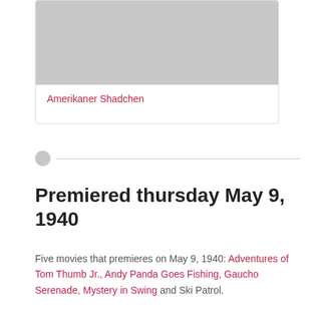[Figure (photo): Gray placeholder image at top of card]
Amerikaner Shadchen
Premiered thursday May 9, 1940
Five movies that premieres on May 9, 1940: Adventures of Tom Thumb Jr., Andy Panda Goes Fishing, Gaucho Serenade, Mystery in Swing and Ski Patrol.